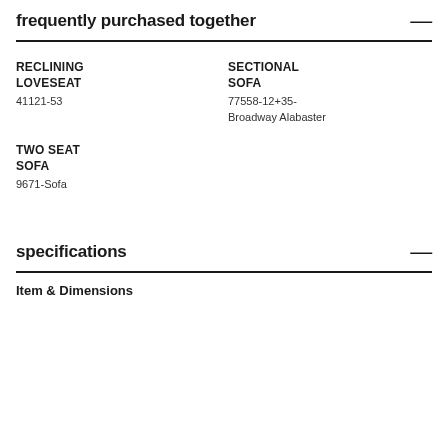frequently purchased together
RECLINING LOVESEAT
41121-53
SECTIONAL SOFA
77558-12+35-Broadway Alabaster
TWO SEAT SOFA
9671-Sofa
specifications
Item & Dimensions